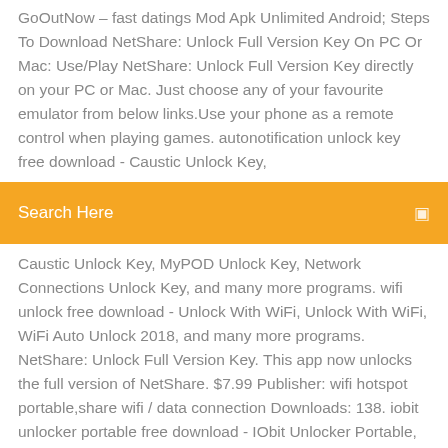GoOutNow – fast datings Mod Apk Unlimited Android; Steps To Download NetShare: Unlock Full Version Key On PC Or Mac: Use/Play NetShare: Unlock Full Version Key directly on your PC or Mac. Just choose any of your favourite emulator from below links.Use your phone as a remote control when playing games. autonotification unlock key free download - Caustic Unlock Key,
Search Here
Caustic Unlock Key, MyPOD Unlock Key, Network Connections Unlock Key, and many more programs. wifi unlock free download - Unlock With WiFi, Unlock With WiFi, WiFi Auto Unlock 2018, and many more programs. NetShare: Unlock Full Version Key. This app now unlocks the full version of NetShare. $7.99 Publisher: wifi hotspot portable,share wifi / data connection Downloads: 138. iobit unlocker portable free download - IObit Unlocker Portable, IObit Unlocker, NetShare: Unlock Full Version Key, and many more programs